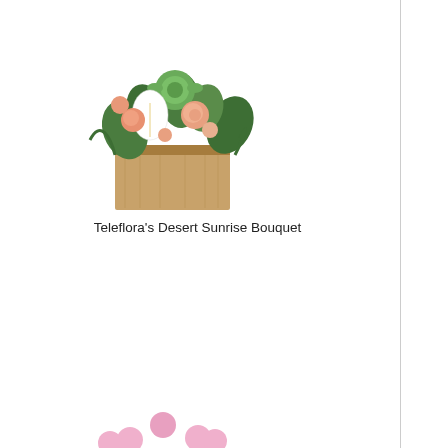[Figure (photo): Teleflora's Desert Sunrise Bouquet - floral arrangement with peach and white flowers in a wooden box]
Teleflora's Desert Sunrise Bouquet
[Figure (photo): Dance with Me Bouquet with Red Roses - red and pink carnations and roses in a red vase with pink bow]
Dance with Me Bouquet with Red Roses
[Figure (photo): America The Beautiful by Teleflora - patriotic arrangement with red roses, white lilies, blue delphinium in blue vase with American flag]
America The Beautiful by Teleflora
$54.99
Earn 1250 Points
[Figure (photo): Beautiful blue hydrangea arrangement - partially visible on right edge]
Beauti...
[Figure (photo): Partially visible white flower arrangement at bottom right corner]